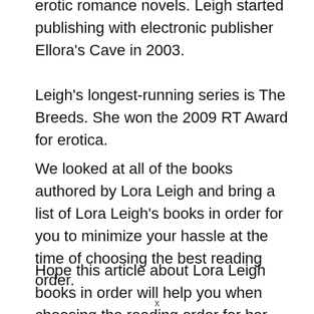erotic romance novels. Leigh started publishing with electronic publisher Ellora's Cave in 2003.
Leigh's longest-running series is The Breeds. She won the 2009 RT Award for erotica.
We looked at all of the books authored by Lora Leigh and bring a list of Lora Leigh's books in order for you to minimize your hassle at the time of choosing the best reading order.
Hope this article about Lora Leigh books in order will help you when choosing the reading order for her books and make your book selection process easier and faster.
x